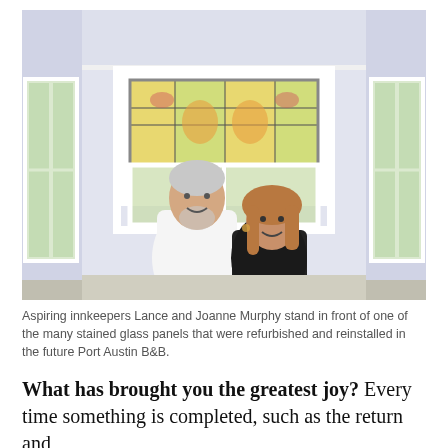[Figure (photo): A man and woman (Lance and Joanne Murphy) standing indoors in front of a bay window with a large stained glass transom panel above them. The room has white trim, lavender/light purple walls, and windows looking out to green trees.]
Aspiring innkeepers Lance and Joanne Murphy stand in front of one of the many stained glass panels that were refurbished and reinstalled in the future Port Austin B&B.
What has brought you the greatest joy? Every time something is completed, such as the return and installation of our stained glass windows...